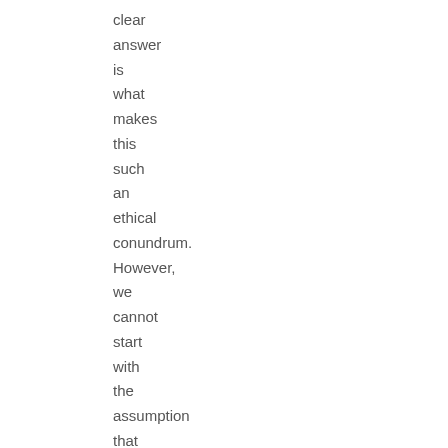clear
answer
is
what
makes
this
such
an
ethical
conundrum.
However,
we
cannot
start
with
the
assumption
that
all
suffering
is
bad.
We
are
told
however
that